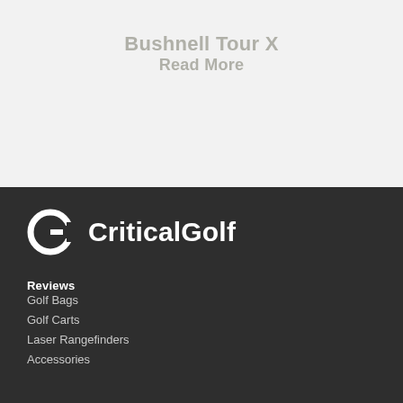Bushnell Tour X
Read More
[Figure (logo): CriticalGolf logo — circular G icon in white next to bold white text 'CriticalGolf' on dark background]
Reviews
Golf Bags
Golf Carts
Laser Rangefinders
Accessories